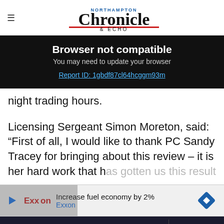Northampton Chronicle & Echo
Browser not compatible
You may need to update your browser
Report ID: 1gbdf87cl64hcggm93m
night trading hours.
Licensing Sergeant Simon Moreton, said: “First of all, I would like to thank PC Sandy Tracey for bringing about this review – it is her hard work that has gotten us this result
[Figure (other): Exxon advertisement: Increase fuel economy by 2% Exxon]
Get 70% fewer ads. Start your 2-month trial for just £2 per month
Subscribe Today